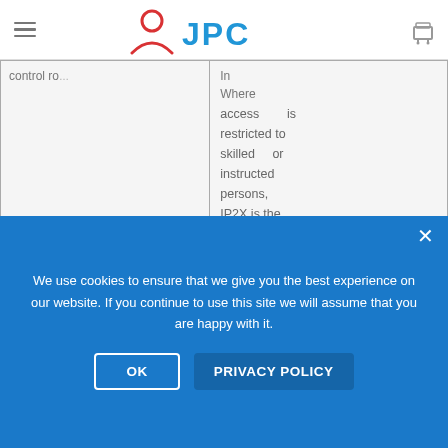JPC — Navigation bar with hamburger menu, JPC logo, and cart icon
| Control room | Where access is restricted / conditions |
| --- | --- |
|  | Where access is restricted to skilled or instructed persons, IP2X is the typical minimum requirement for dry conditions. |
|  | These |
We use cookies to ensure that we give you the best experience on our website. If you continue to use this site we will assume that you are happy with it.
OK   PRIVACY POLICY